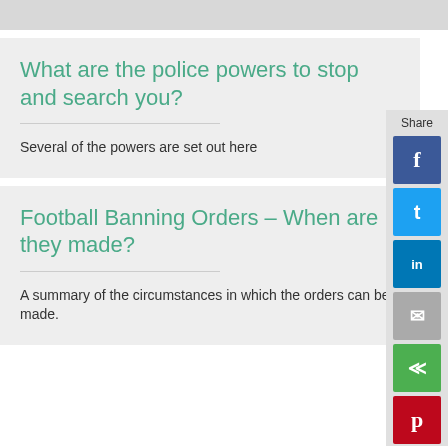What are the police powers to stop and search you?
Several of the powers are set out here
Football Banning Orders – When are they made?
A summary of the circumstances in which the orders can be made.